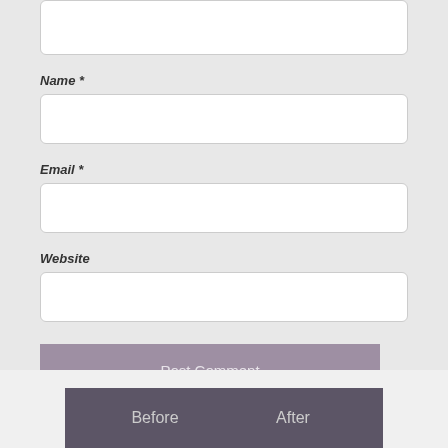[Figure (screenshot): Partial textarea input field at top of form area]
Name *
[Figure (screenshot): Name text input field]
Email *
[Figure (screenshot): Email text input field]
Website
[Figure (screenshot): Website text input field]
[Figure (screenshot): Post Comment submit button]
Before
After